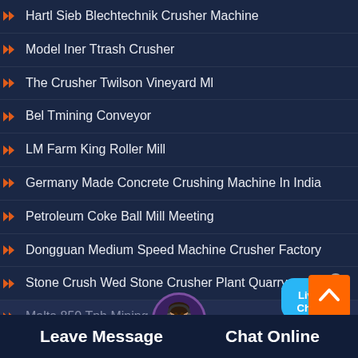Hartl Sieb Blechtechnik Crusher Machine
Model Iner Ttrash Crusher
The Crusher Twilson Vineyard Ml
Bel Tmining Conveyor
LM Farm King Roller Mill
Germany Made Concrete Crushing Machine In India
Petroleum Coke Ball Mill Meeting
Dongguan Medium Speed Machine Crusher Factory
Stone Crush Wed Stone Crusher Plant Quarry
Malta 850 Tph Mining Crush...
[Figure (infographic): Live Chat bubble icon in cyan/blue color with 'x' close button]
[Figure (infographic): Orange scroll-to-top button with upward chevron arrow]
[Figure (photo): Avatar photo of a woman with headset]
Leave Message    Chat Online